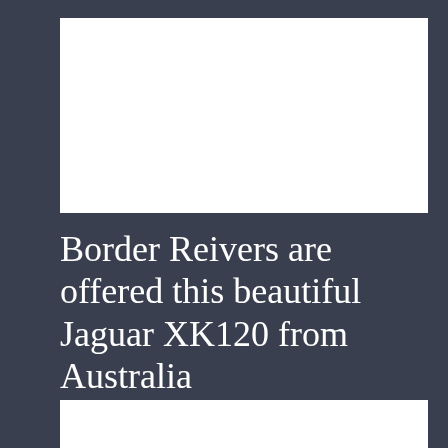[Figure (photo): White image placeholder at top of page]
Border Reivers are offered this beautiful Jaguar XK120 from Australia
March 3, 2015
[Figure (photo): White image placeholder at bottom of page]